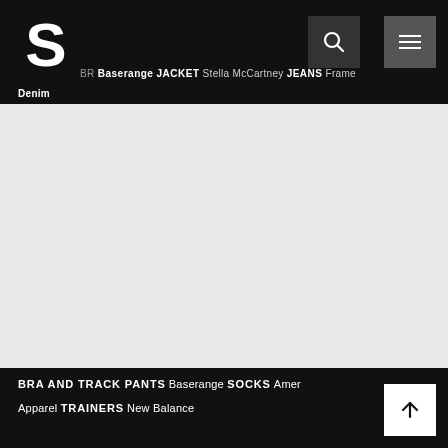S [logo] BRA Baserange JACKET Stella McCartney JEANS Frame Denim
[Figure (other): Large light gray empty content area below the navigation header]
BRA AND TRACK PANTS Baserange SOCKS American Apparel TRAINERS New Balance